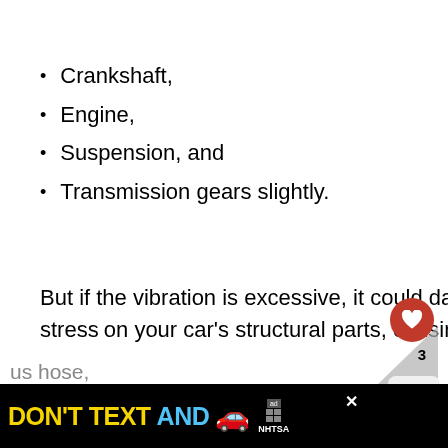Crankshaft,
Engine,
Suspension, and
Transmission gears slightly.
But if the vibration is excessive, it could damage your fuel tank and put a lot of stress on your car's structural parts, causing them to fail after many cycles.
Again, what causes a gas leak? Gas leaks
[Figure (screenshot): Advertisement banner at the bottom: black background with yellow text 'DON'T TEXT' and cyan text 'AND', car emoji, ad choice icon, close button, and NHTSA logo]